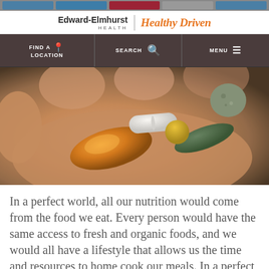[Figure (screenshot): Edward-Elmhurst Health website header with logo, navigation bar with FIND A LOCATION, SEARCH, MENU options, and a hero image of a hand holding various supplement pills and capsules]
In a perfect world, all our nutrition would come from the food we eat. Every person would have the same access to fresh and organic foods, and we would all have a lifestyle that allows us the time and resources to home cook our meals. In a perfect world, we would be eating